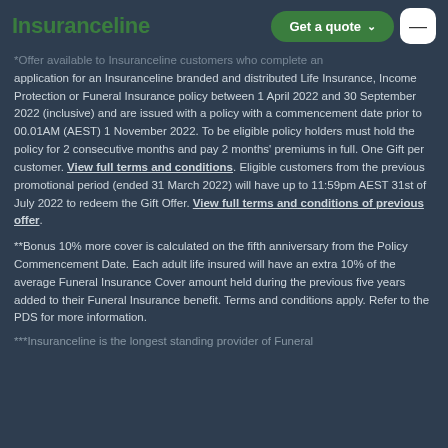Insuranceline | Get a quote
*Offer available to Insuranceline customers who complete an application for an Insuranceline branded and distributed Life Insurance, Income Protection or Funeral Insurance policy between 1 April 2022 and 30 September 2022 (inclusive) and are issued with a policy with a commencement date prior to 00.01AM (AEST) 1 November 2022. To be eligible policy holders must hold the policy for 2 consecutive months and pay 2 months' premiums in full. One Gift per customer. View full terms and conditions. Eligible customers from the previous promotional period (ended 31 March 2022) will have up to 11:59pm AEST 31st of July 2022 to redeem the Gift Offer. View full terms and conditions of previous offer.
**Bonus 10% more cover is calculated on the fifth anniversary from the Policy Commencement Date. Each adult life insured will have an extra 10% of the average Funeral Insurance Cover amount held during the previous five years added to their Funeral Insurance benefit. Terms and conditions apply. Refer to the PDS for more information.
***Insuranceline is the longest standing provider of Funeral...